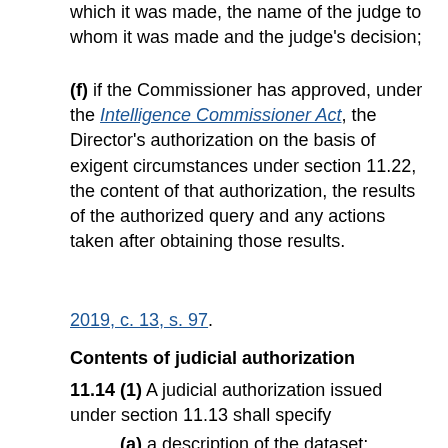which it was made, the name of the judge to whom it was made and the judge's decision;
(f) if the Commissioner has approved, under the Intelligence Commissioner Act, the Director's authorization on the basis of exigent circumstances under section 11.22, the content of that authorization, the results of the authorized query and any actions taken after obtaining those results.
2019, c. 13, s. 97.
Contents of judicial authorization
11.14 (1) A judicial authorization issued under section 11.13 shall specify
(a) a description of the dataset;
(b) the manner in which the Service may update the dataset;
(c) the period during which the judicial